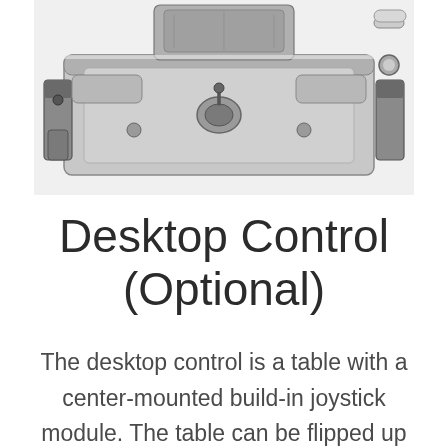[Figure (illustration): Technical illustration of a wheelchair desktop control/tray with a joystick module mounted in the center, showing mechanical components and armrests from an angled top-down view]
Desktop Control (Optional)
The desktop control is a table with a center-mounted build-in joystick module. The table can be flipped up sideways for transferring in and out of the wheelchair. The joystick